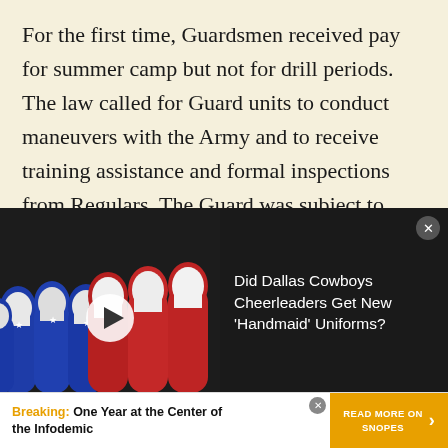For the first time, Guardsmen received pay for summer camp but not for drill periods. The law called for Guard units to conduct maneuvers with the Army and to receive training assistance and formal inspections from Regulars. The Guard was subject to federal callups for nine months, though its service was restricted to within U.S. borders. The participation of Guard members in national callups was no longer discretionary; any soldier
[Figure (photo): Video thumbnail showing figures dressed in red and blue robes with white wimple hats (Handmaid's Tale costumes). A play button is overlaid on the image.]
Did Dallas Cowboys Cheerleaders Get New 'Handmaid' Uniforms?
Breaking: One Year at the Center of the Infodemic  READ MORE ON SNOPES ›